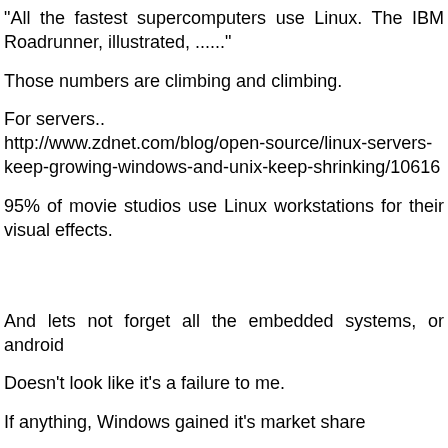"All the fastest supercomputers use Linux. The IBM Roadrunner, illustrated, ......"
Those numbers are climbing and climbing.
For servers.. http://www.zdnet.com/blog/open-source/linux-servers-keep-growing-windows-and-unix-keep-shrinking/10616
95% of movie studios use Linux workstations for their visual effects.
And lets not forget all the embedded systems, or android
Doesn't look like it's a failure to me.
If anything, Windows gained it's market share